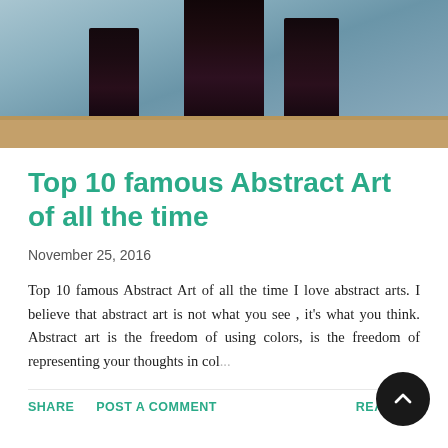[Figure (photo): A photograph showing dark sculptural columns or pillars against a light blue background with a sandy/stone base]
Top 10 famous Abstract Art of all the time
November 25, 2016
Top 10 famous Abstract Art of all the time I love abstract arts. I believe that abstract art is not what you see , it's what you think. Abstract art is the freedom of using colors, is the freedom of representing your thoughts in col...
SHARE   POST A COMMENT   READ M...